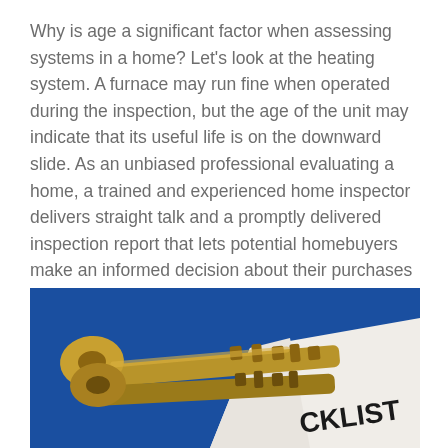Why is age a significant factor when assessing systems in a home? Let's look at the heating system. A furnace may run fine when operated during the inspection, but the age of the unit may indicate that its useful life is on the downward slide. As an unbiased professional evaluating a home, a trained and experienced home inspector delivers straight talk and a promptly delivered inspection report that lets potential homebuyers make an informed decision about their purchases—from someone who has assessed hundreds of homes in the market and understands the life spans of a wide range of materials and equipment.
[Figure (photo): A close-up photo of two gold/brass house keys lying on a white document labeled 'CKLIST' (checklist), against a bright blue background.]